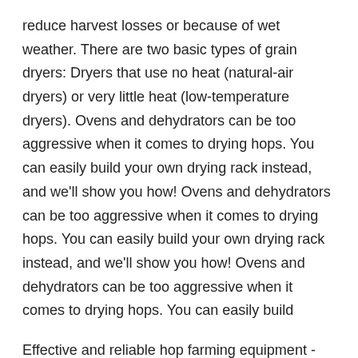reduce harvest losses or because of wet weather. There are two basic types of grain dryers: Dryers that use no heat (natural-air dryers) or very little heat (low-temperature dryers). Ovens and dehydrators can be too aggressive when it comes to drying hops. You can easily build your own drying rack instead, and we'll show you how! Ovens and dehydrators can be too aggressive when it comes to drying hops. You can easily build your own drying rack instead, and we'll show you how! Ovens and dehydrators can be too aggressive when it comes to drying hops. You can easily build
Effective and reliable hop farming equipment - including the Hopster® hops harvester, and solutions for hops dryers and hops balers. Made in the U.S.A. As an example, 4.6 pounds of fresh hops harvested at 80 percent moisture (determined on a separate sample) will dry to 1 pound of hops at 8 percent moisture. Hops do not dry evenly and should be allowed to sit